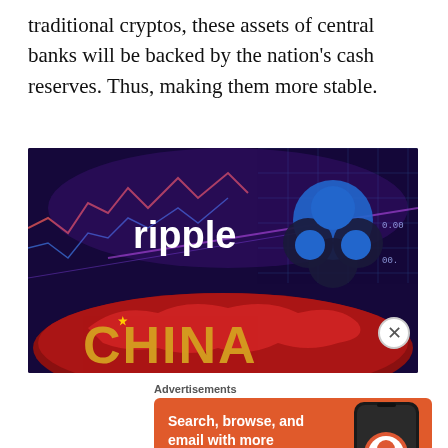traditional cryptos, these assets of central banks will be backed by the nation's cash reserves. Thus, making them more stable.
[Figure (photo): Image showing the Ripple (XRP) logo and brand name against a background of financial charts and a globe showing China's map with the word CHINA in large gold letters.]
Advertisements
[Figure (screenshot): DuckDuckGo advertisement: orange background with text 'Search, browse, and email with more privacy. All in One Free App' and an image of a smartphone showing the DuckDuckGo logo.]